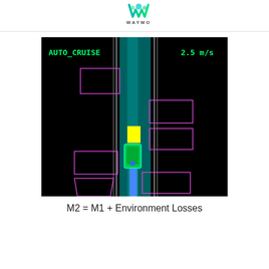WAYMO
[Figure (screenshot): Waymo autonomous vehicle simulation view showing a bird's-eye perspective of a road scene. The display reads AUTO_CRUISE on the left and 2.5 m/s on the right in green text. The scene shows a dark background with a road/lane (teal/cyan vertical band) in the center, gray lane lines, several purple-outlined rectangular bounding boxes representing detected objects on both sides of the road, a yellow rectangle above the ego vehicle, a green vehicle shape (the ego vehicle) in the center, and a blue path/trajectory extending downward.]
M2 = M1 + Environment Losses